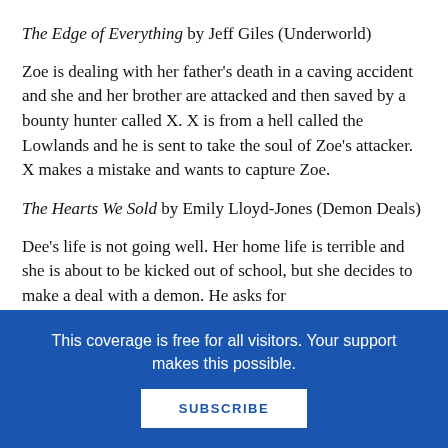The Edge of Everything by Jeff Giles (Underworld)
Zoe is dealing with her father's death in a caving accident and she and her brother are attacked and then saved by a bounty hunter called X. X is from a hell called the Lowlands and he is sent to take the soul of Zoe's attacker. X makes a mistake and wants to capture Zoe.
The Hearts We Sold by Emily Lloyd-Jones (Demon Deals)
Dee's life is not going well. Her home life is terrible and she is about to be kicked out of school, but she decides to make a deal with a demon. He asks for
This coverage is free for all visitors. Your support makes this possible.
SUBSCRIBE